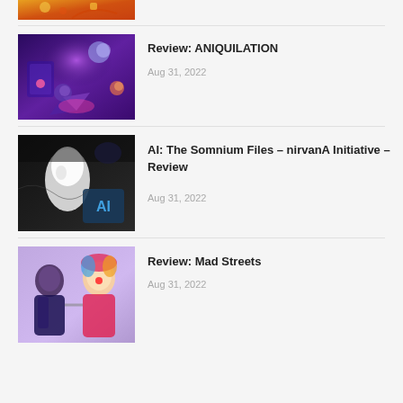[Figure (photo): Partial top thumbnail showing colorful game art with chains and characters, orange/red tones]
[Figure (photo): Thumbnail for ANIQUILATION review - purple/blue space-themed game art with anime characters and crystals]
Review: ANIQUILATION
Aug 31, 2022
[Figure (photo): Thumbnail for AI: The Somnium Files nirvanA Initiative review - dark game art with AI logo]
AI: The Somnium Files – nirvanA Initiative – Review
Aug 31, 2022
[Figure (photo): Thumbnail for Mad Streets review - cartoon fighting game characters on purple background]
Review: Mad Streets
Aug 31, 2022